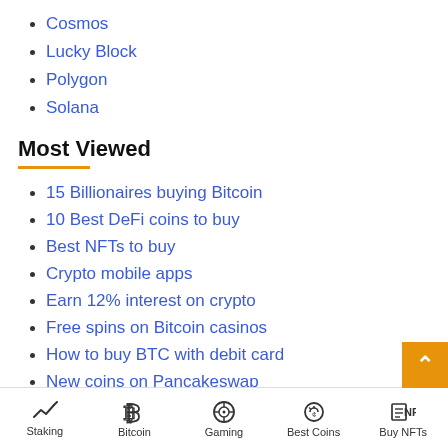Cosmos
Lucky Block
Polygon
Solana
Most Viewed
15 Billionaires buying Bitcoin
10 Best DeFi coins to buy
Best NFTs to buy
Crypto mobile apps
Earn 12% interest on crypto
Free spins on Bitcoin casinos
How to buy BTC with debit card
New coins on Pancakeswap
Tracking Reddit crypto trends
Staking | Bitcoin | Gaming | Best Coins | Buy NFTs